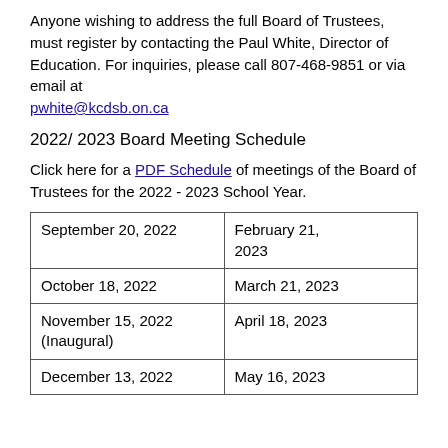Anyone wishing to address the full Board of Trustees, must register by contacting the Paul White, Director of Education. For inquiries, please call 807-468-9851 or via email at pwhite@kcdsb.on.ca
2022/ 2023 Board Meeting Schedule
Click here for a PDF Schedule of meetings of the Board of Trustees for the 2022 - 2023 School Year.
| September 20, 2022 | February 21, 2023 |
| October 18, 2022 | March 21, 2023 |
| November 15, 2022
(Inaugural) | April 18, 2023 |
| December 13, 2022 | May 16, 2023 |